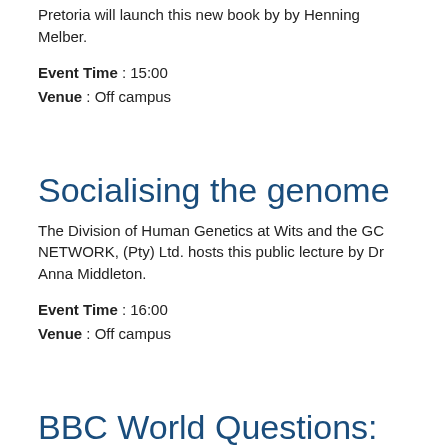Pretoria will launch this new book by by Henning Melber.
Event Time : 15:00
Venue : Off campus
Socialising the genome
The Division of Human Genetics at Wits and the GC NETWORK, (Pty) Ltd. hosts this public lecture by Dr Anna Middleton.
Event Time : 16:00
Venue : Off campus
BBC World Questions: South Africa